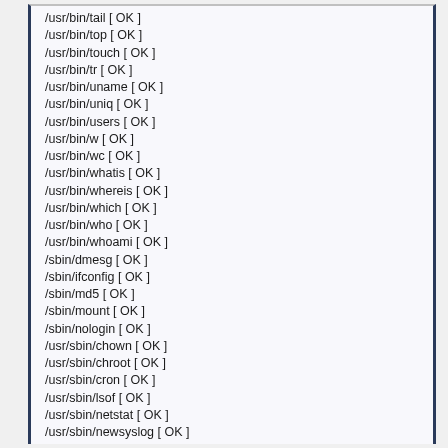/usr/bin/tail [ OK ]
/usr/bin/top [ OK ]
/usr/bin/touch [ OK ]
/usr/bin/tr [ OK ]
/usr/bin/uname [ OK ]
/usr/bin/uniq [ OK ]
/usr/bin/users [ OK ]
/usr/bin/w [ OK ]
/usr/bin/wc [ OK ]
/usr/bin/whatis [ OK ]
/usr/bin/whereis [ OK ]
/usr/bin/which [ OK ]
/usr/bin/who [ OK ]
/usr/bin/whoami [ OK ]
/sbin/dmesg [ OK ]
/sbin/ifconfig [ OK ]
/sbin/md5 [ OK ]
/sbin/mount [ OK ]
/sbin/nologin [ OK ]
/usr/sbin/chown [ OK ]
/usr/sbin/chroot [ OK ]
/usr/sbin/cron [ OK ]
/usr/sbin/lsof [ OK ]
/usr/sbin/netstat [ OK ]
/usr/sbin/newsyslog [ OK ]
/usr/sbin/sysctl [ OK ]
/usr/sbin/syslogd [ OK ]
/usr/sbin/vipw [ OK ]
/usr/libexec/tcpd [ OK ]
Checking for rootkits...
Performing check of known rootkit files and directories
55808 Trojan - Variant A [ Not found ]
ADM Worm [ Not found ]
AjaKit Rootkit [ Not found ]
aPa Kit [ Not found ]
Apache Worm [ Not found ]